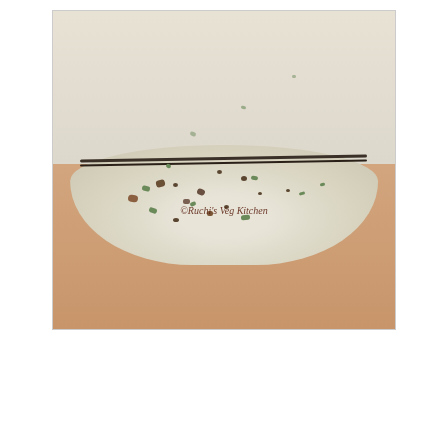[Figure (photo): Close-up photograph of rolled-out flatbread dough with green herbs and spices mixed in, folded with a dark fold line visible, on a floured wooden surface. Watermark reads '©Ruchi's Veg Kitchen' in cursive italic text.]